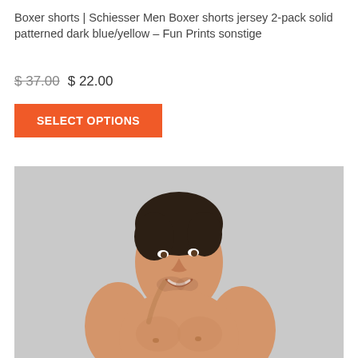Boxer shorts | Schiesser Men Boxer shorts jersey 2-pack solid patterned dark blue/yellow – Fun Prints sonstige
$ 37.00 $ 22.00
SELECT OPTIONS
[Figure (photo): A shirtless athletic man with dark hair smiling and looking to his right, against a light grey background.]